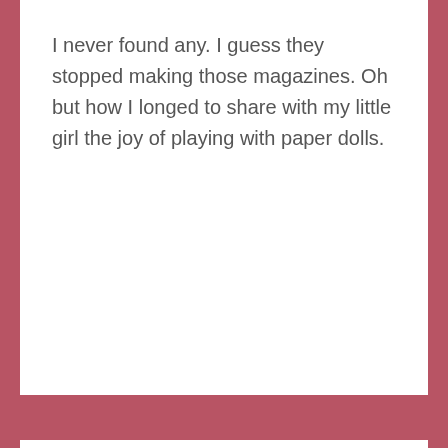I never found any. I guess they stopped making those magazines. Oh but how I longed to share with my little girl the joy of playing with paper dolls.
WRITING PROMPT
One Way Ticket: A Gotham Writers' Prompt
Posted on March 19, 2022
[Figure (photo): Dark/black image bar at bottom of page, partially visible]